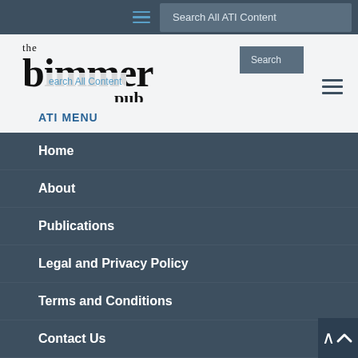Search All ATI Content
[Figure (logo): The Bimmer Pub logo with gothic/blackletter style text]
ATI MENU
Home
About
Publications
Legal and Privacy Policy
Terms and Conditions
Contact Us